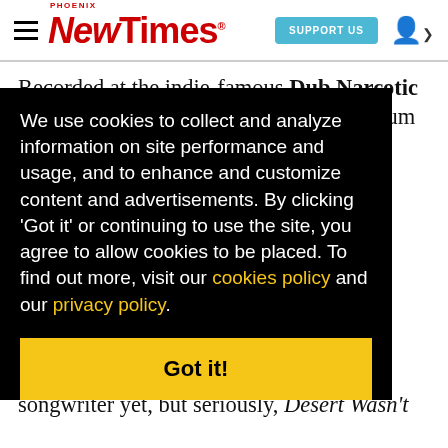Phoenix New Times | SUPPORT US
Recorded at the indie-famous Dub Narcotic Studios in Olympia, Washington, the album is [partially obscured] nch [obscured] ho [obscured] sual [obscured] oppy, [obscured] and's [obscured] ord, [obscured] n the songwriter yet, but seriously, Desert Wasn't
We use cookies to collect and analyze information on site performance and usage, and to enhance and customize content and advertisements. By clicking 'Got it' or continuing to use the site, you agree to allow cookies to be placed. To find out more, visit our cookies policy and our privacy policy.
Got it!